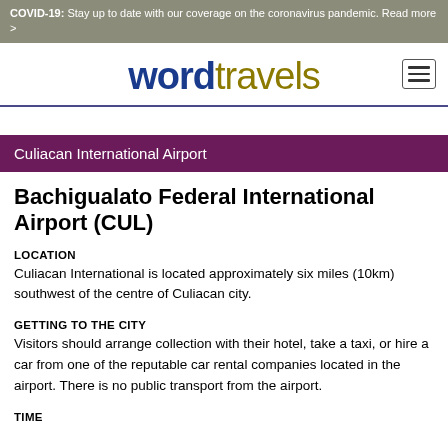COVID-19: Stay up to date with our coverage on the coronavirus pandemic. Read more >
[Figure (logo): Word Travels logo with hamburger menu icon]
Culiacan International Airport
Bachigualato Federal International Airport (CUL)
LOCATION
Culiacan International is located approximately six miles (10km) southwest of the centre of Culiacan city.
GETTING TO THE CITY
Visitors should arrange collection with their hotel, take a taxi, or hire a car from one of the reputable car rental companies located in the airport. There is no public transport from the airport.
TIME